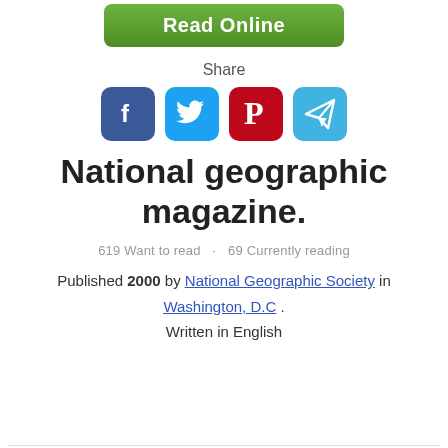[Figure (other): Green 'Read Online' button]
Share
[Figure (other): Social media icons: Facebook, Twitter, Pinterest, Telegram]
National geographic magazine.
619 Want to read · 69 Currently reading
Published 2000 by National Geographic Society in Washington, D.C . Written in English